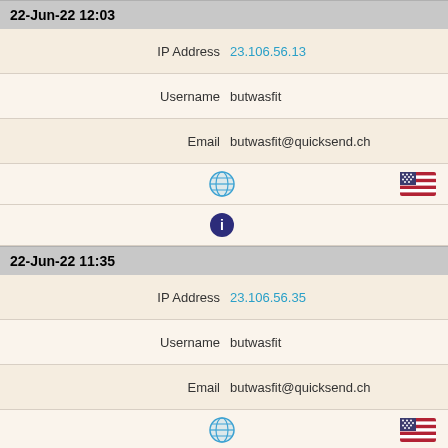22-Jun-22 12:03
IP Address  23.106.56.13
Username  butwasfit
Email  butwasfit@quicksend.ch
[Figure (infographic): Globe icon and US flag icon]
[Figure (infographic): Dark circle info icon]
22-Jun-22 11:35
IP Address  23.106.56.35
Username  butwasfit
Email  butwasfit@quicksend.ch
[Figure (infographic): Globe icon and US flag icon]
[Figure (infographic): Dark circle info icon]
22-Jun-22 11:18
IP Address  23.106.56.35
Username  butwasfit
Email  butwasfit@quicksend.ch
[Figure (infographic): Globe icon and US flag icon]